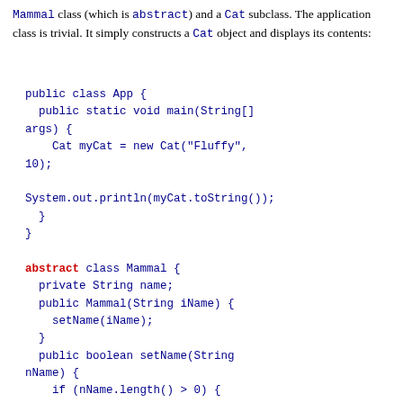Mammal class (which is abstract) and a Cat subclass. The application class is trivial. It simply constructs a Cat object and displays its contents: